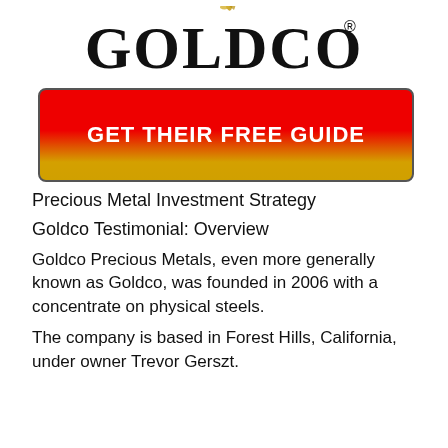[Figure (logo): Goldco logo — large serif black text GOLDCO with registered trademark symbol and gold flame/leaf accent above]
[Figure (other): Red and gold gradient button with white bold uppercase text reading GET THEIR FREE GUIDE]
Precious Metal Investment Strategy
Goldco Testimonial: Overview
Goldco Precious Metals, even more generally known as Goldco, was founded in 2006 with a concentrate on physical steels.
The company is based in Forest Hills, California, under owner Trevor Gerszt.